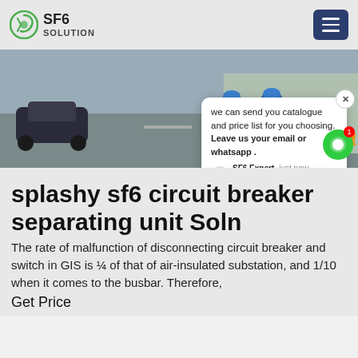SF6 SOLUTION
[Figure (photo): Two workers in blue uniforms and hard hats walking away from camera on a road, with a car visible. Partial text 'ina' visible in orange on the right side.]
splashy sf6 circuit breaker separating unit Solution
The rate of malfunction of disconnecting circuit breaker and switch in GIS is ¼ of that of air-insulated substation, and 1/10 when it comes to the busbar. Therefore,
Get Price